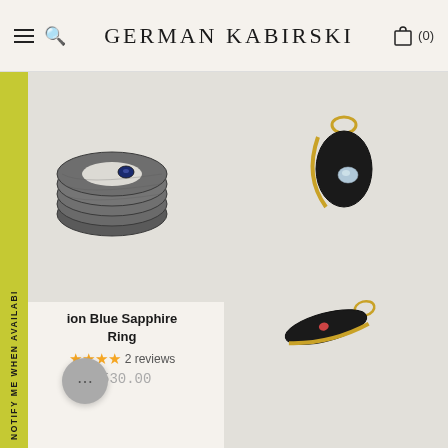GERMAN KABIRSKI
[Figure (photo): Textured dark silver ring with blue sapphire gemstone, product photo on grey background]
[Figure (photo): Black and gold drop earrings with blue topaz and lemon quartz stones, product photo on grey background]
ion Blue Sapphire Ring
★★★★ 2 reviews
$530.00
Diara Blue Topaz and Lemon Quartz Earrings
★★★★★ 7 reviews
$790.00
NOTIFY ME WHEN AVAILABI